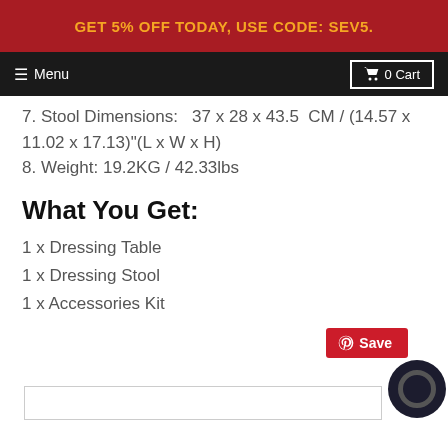GET 5% OFF TODAY, USE CODE: SEV5.
Menu  0 Cart
7. Stool Dimensions:   37 x 28 x 43.5  CM / (14.57 x 11.02 x 17.13)"(L x W x H)
8. Weight: 19.2KG / 42.33lbs
What You Get:
1 x Dressing Table
1 x Dressing Stool
1 x Accessories Kit
[Figure (screenshot): Pinterest Save button and chat widget at bottom of page]